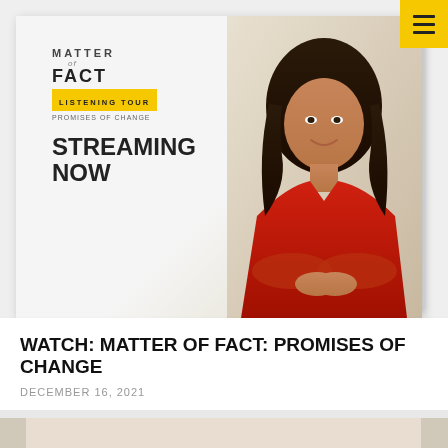[Figure (screenshot): Website screenshot showing Matter of Fact Listening Tour: Promises of Change promotional banner with a woman in a red blazer and text 'STREAMING NOW']
WATCH: MATTER OF FACT: PROMISES OF CHANGE
DECEMBER 16, 2021
[Figure (photo): Partial image at bottom of page showing another article card with a person]